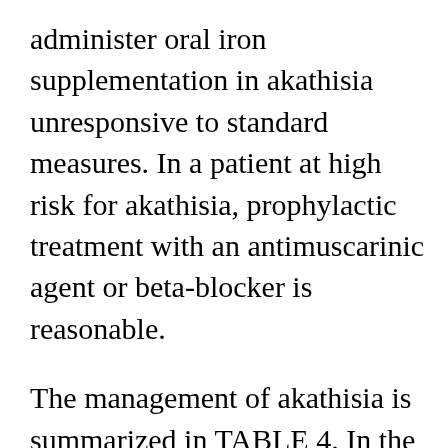administer oral iron supplementation in akathisia unresponsive to standard measures. In a patient at high risk for akathisia, prophylactic treatment with an antimuscarinic agent or beta-blocker is reasonable.
The management of akathisia is summarized in TABLE 4. In the patient experiencing acute akathisia, the causative agent should be discontinued, if possible. A switch to an atypical antipsychotic or alternative agent should